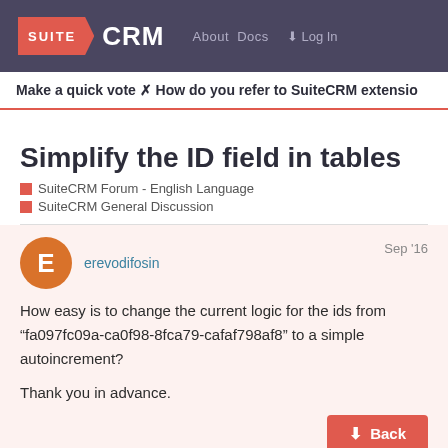SUITE CRM | About  Docs  Log In
Make a quick vote ? How do you refer to SuiteCRM extensio
Simplify the ID field in tables
SuiteCRM Forum - English Language
SuiteCRM General Discussion
erevodifosin  Sep '16

How easy is to change the current logic for the ids from "fa097fc09a-ca0f98-8fca79-cafaf798af8" to a simple autoincrement?

Thank you in advance.
1 / 18